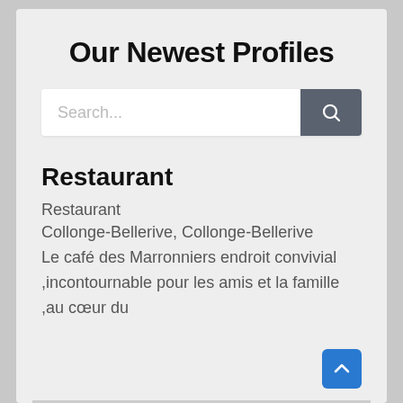Our Newest Profiles
[Figure (other): Search bar with text input placeholder 'Search...' and a dark grey search button with a magnifying glass icon]
Restaurant
Restaurant
Collonge-Bellerive, Collonge-Bellerive
Le café des Marronniers endroit convivial ,incontournable pour les amis et la famille ,au cœur du